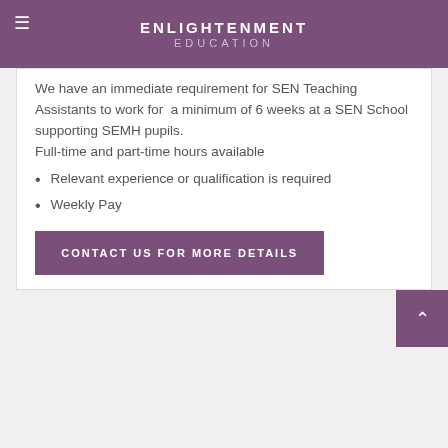ENLIGHTENMENT EDUCATION
We have an immediate requirement for SEN Teaching Assistants to work for a minimum of 6 weeks at a SEN School supporting SEMH pupils.
Full-time and part-time hours available
Relevant experience or qualification is required
Weekly Pay
CONTACT US FOR MORE DETAILS
SEND TEACHING